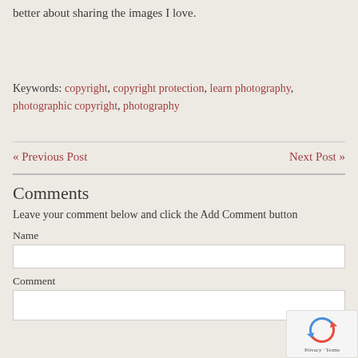better about sharing the images I love.
Keywords: copyright, copyright protection, learn photography, photographic copyright, photography
« Previous Post   Next Post »
Comments
Leave your comment below and click the Add Comment button
Name
Comment